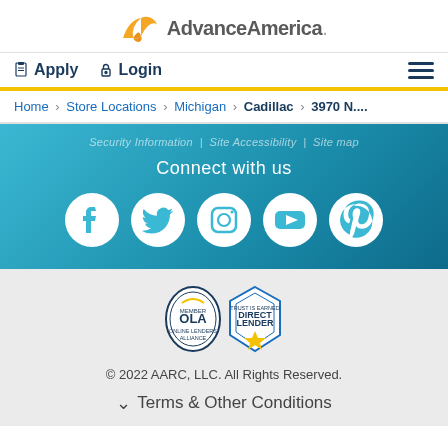[Figure (logo): Advance America logo with orange bird/arrow icon and gray text]
Apply  Login  (hamburger menu)
Home > Store Locations > Michigan > Cadillac > 3970 N....
Security Information | Site Accessibility | Site Map
Connect with us
[Figure (infographic): Social media icons: Facebook, Twitter, Instagram, YouTube, Pinterest]
[Figure (logo): OLA and Direct Lender certification badges]
© 2022 AARC, LLC. All Rights Reserved.
Terms & Other Conditions